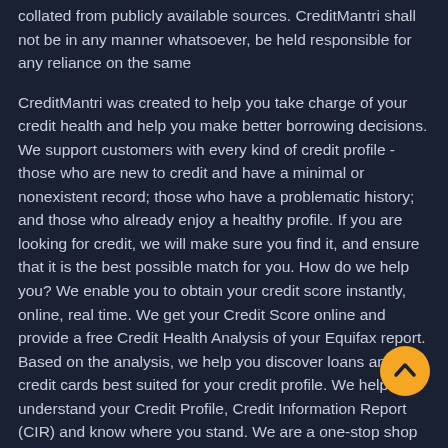collated from publicly available sources. CreditMantri shall not be in any manner whatsoever, be held responsible for any reliance on the same
CreditMantri was created to help you take charge of your credit health and help you make better borrowing decisions. We support customers with every kind of credit profile - those who are new to credit and have a minimal or nonexistent record; those who have a problematic history; and those who already enjoy a healthy profile. If you are looking for credit, we will make sure you find it, and ensure that it is the best possible match for you. How do we help you? We enable you to obtain your credit score instantly, online, real time. We get your Credit Score online and provide a free Credit Health Analysis of your Equifax report. Based on the analysis, we help you discover loans and credit cards best suited for your credit profile. We help you understand your Credit Profile, Credit Information Report (CIR) and know where you stand. We are a one-stop shop for all your credit needs. We make it easy for you to browse through and compare the various financial products on offer on the market; access our free and user-friendly online tools; and finally, enjoy a stress-free application process with quick approvals. We ensure that you have a better shot at